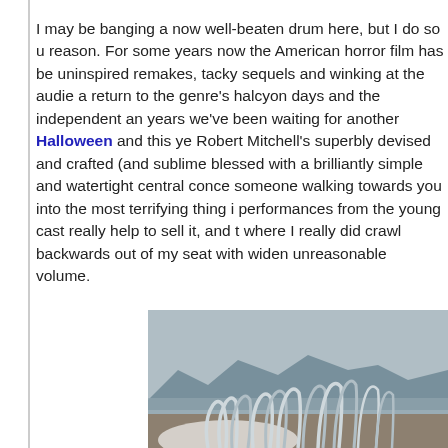I may be banging a now well-beaten drum here, but I do so u reason. For some years now the American horror film has be uninspired remakes, tacky sequels and winking at the audie a return to the genre's halcyon days and the independent an years we've been waiting for another Halloween and this ye Robert Mitchell's superbly devised and crafted (and sublime blessed with a brilliantly simple and watertight central conce someone walking towards you into the most terrifying thing i performances from the young cast really help to sell it, and where I really did crawl backwards out of my seat with widen unreasonable volume.
[Figure (photo): Outdoor photograph showing what appears to be white/silver skeletal or mechanical structures (resembling ribs or curved metal rods) in the foreground, with a mountainous landscape and water or flat terrain visible in the background under an overcast sky.]